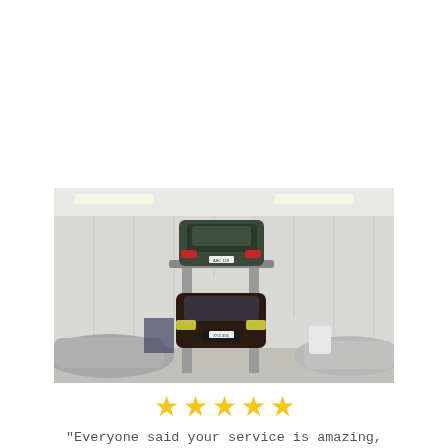[Figure (photo): Interior of a garage with a four-post car lift holding a dark green car elevated above a dark brown convertible car below. Other cars are covered with grey covers on both sides. White panel walls and fluorescent lighting visible.]
★★★★★
"Everyone said your service is amazing, and yet I'm still blown away by how good it really is. You guys made buying and receiving my... ...easy process...